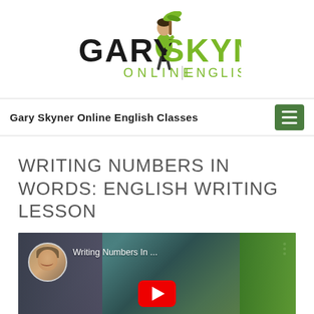[Figure (logo): Gary Skyner Online English logo with stylized cartoon figure, black and green text]
Gary Skyner Online English Classes
WRITING NUMBERS IN WORDS: ENGLISH WRITING LESSON
[Figure (screenshot): YouTube video thumbnail showing 'Writing Numbers In ...' with a smiling man avatar on left, red play button in center, green graphic on right]